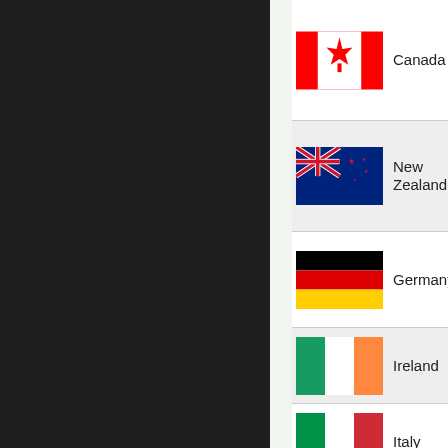[Figure (illustration): Canada flag - red and white with maple leaf]
Canada
[Figure (illustration): New Zealand flag - blue with Union Jack and Southern Cross stars]
New Zealand
[Figure (illustration): Germany flag - three horizontal stripes: black, red, gold]
Germany
[Figure (illustration): Ireland flag - three vertical stripes: green, white, orange]
Ireland
[Figure (illustration): Italy flag - three vertical stripes: green, white, red]
Italy
[Figure (illustration): Finland flag - white with blue Nordic cross]
Finland